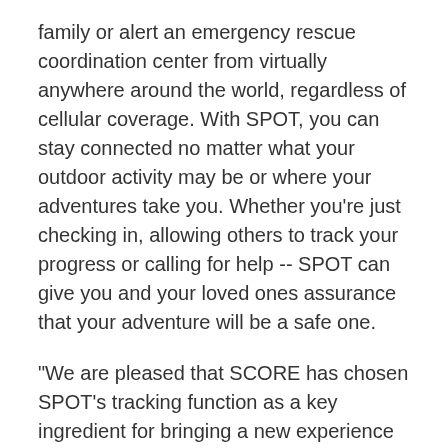family or alert an emergency rescue coordination center from virtually anywhere around the world, regardless of cellular coverage. With SPOT, you can stay connected no matter what your outdoor activity may be or where your adventures take you. Whether you're just checking in, allowing others to track your progress or calling for help -- SPOT can give you and your loved ones assurance that your adventure will be a safe one.
"We are pleased that SCORE has chosen SPOT's tracking function as a key ingredient for bringing a new experience to the fans of the Baja 1000," said Darren Bassel, Director of Marketing for SPOT LLC. "As some of the world's finest drivers battle the harsh and remote desert environment of the Baja Peninsula, our partnership with SCORE, Aura360, BFGoodrich,